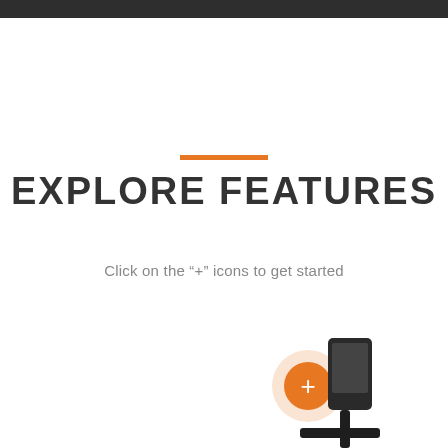EXPLORE FEATURES
Click on the “+” icons to get started
[Figure (photo): A phone mount device shown at the bottom of the page with an orange '+' icon circle (glowing) overlaid on it, suggesting an interactive hotspot.]